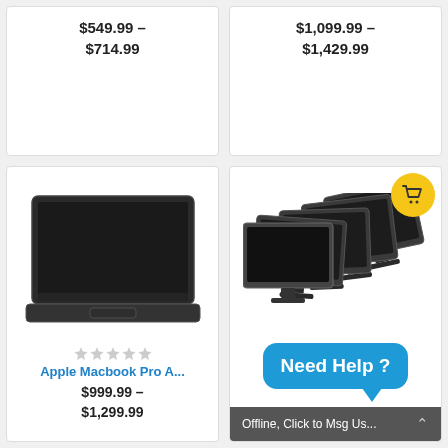$549.99 – $714.99
$1,099.99 – $1,429.99
[Figure (photo): Apple MacBook Pro laptop with dark screen and keyboard, viewed from slight angle above]
Apple Macbook Pro A...
$999.99 – $1,299.99
[Figure (photo): Five Dell flat-panel monitors arranged in a fan/stacked formation on stands]
Need Help ?
Offline, Click to Msg Us...